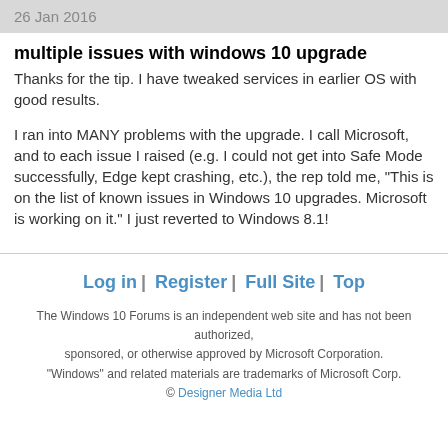26 Jan 2016
multiple issues with windows 10 upgrade
Thanks for the tip. I have tweaked services in earlier OS with good results.
I ran into MANY problems with the upgrade. I call Microsoft, and to each issue I raised (e.g. I could not get into Safe Mode successfully, Edge kept crashing, etc.), the rep told me, "This is on the list of known issues in Windows 10 upgrades. Microsoft is working on it." I just reverted to Windows 8.1!
Log in | Register | Full Site | Top

The Windows 10 Forums is an independent web site and has not been authorized, sponsored, or otherwise approved by Microsoft Corporation. "Windows" and related materials are trademarks of Microsoft Corp. © Designer Media Ltd